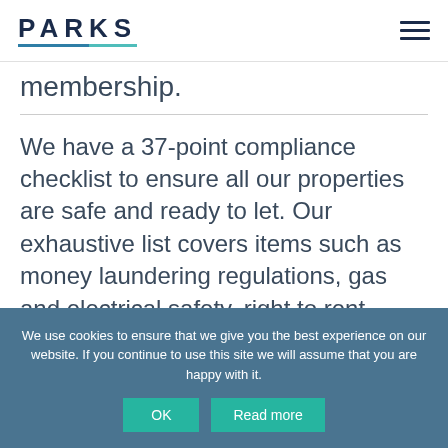PARKS
membership.
We have a 37-point compliance checklist to ensure all our properties are safe and ready to let. Our exhaustive list covers items such as money laundering regulations, gas and electrical safety, right to rent checks, general health and safety,
We use cookies to ensure that we give you the best experience on our website. If you continue to use this site we will assume that you are happy with it.
OK
Read more